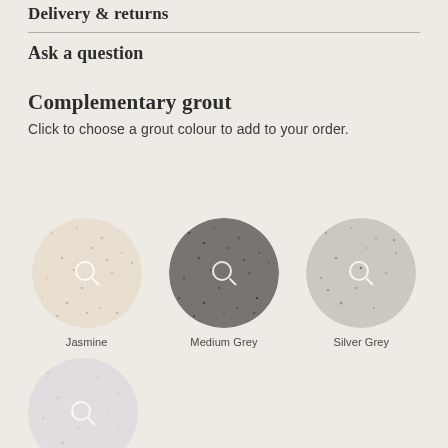Delivery & returns
Ask a question
Complementary grout
Click to choose a grout colour to add to your order.
[Figure (illustration): Three circular grout colour swatches labeled Jasmine (cream/beige speckled), Medium Grey (dark grey speckled), and Silver Grey (light grey speckled), each with a magnifier icon overlay.]
[Figure (illustration): One circular grout colour swatch at bottom left, pale lavender/white speckled texture, with a magnifier icon overlay.]